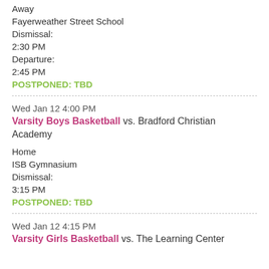Away
Fayerweather Street School
Dismissal:
2:30 PM
Departure:
2:45 PM
POSTPONED: TBD
Wed Jan 12 4:00 PM
Varsity Boys Basketball vs. Bradford Christian Academy
Home
ISB Gymnasium
Dismissal:
3:15 PM
POSTPONED: TBD
Wed Jan 12 4:15 PM
Varsity Girls Basketball vs. The Learning Center